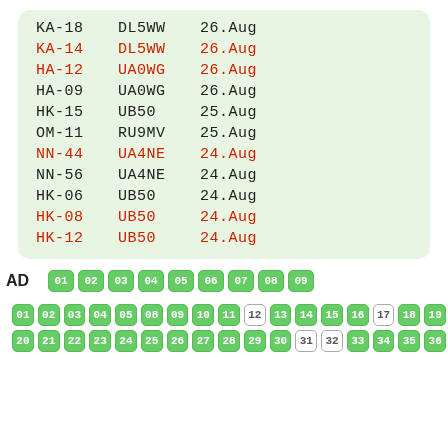| Code | Station | Date |
| --- | --- | --- |
| KA-18 | DL5WW | 26.Aug |
| KA-14 | DL5WW | 26.Aug |
| HA-12 | UA0WG | 26.Aug |
| HA-09 | UA0WG | 26.Aug |
| HK-15 | UB50 | 25.Aug |
| OM-11 | RU9MV | 25.Aug |
| NN-44 | UA4NE | 24.Aug |
| NN-56 | UA4NE | 24.Aug |
| HK-06 | UB50 | 24.Aug |
| HK-08 | UB50 | 24.Aug |
| HK-12 | UB50 | 24.Aug |
AD   01 02 03 04 05 06 07 08 09
01 02 03 04 05 08 09 10 11 12 13 14 15 16 17 18 19
20 21 22 23 24 25 26 27 28 29 30 31 32 33 34 35 36